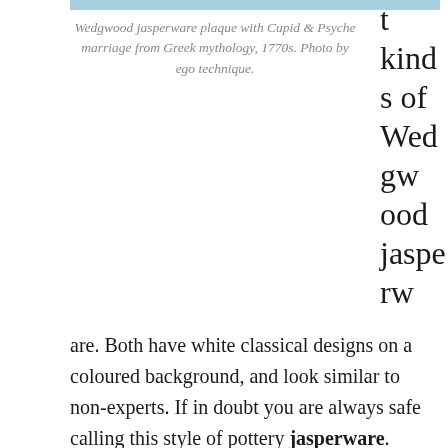[Figure (photo): Light blue strip at top, partial image of Wedgwood jasperware plaque]
Wedgwood jasperware plaque with Cupid & Psyche marriage from Greek mythology, 1770s. Photo by ego technique.
t kinds of Wedgwood jasperware. Both have white classical designs on a coloured background, and look similar to non-experts. If in doubt you are always safe calling this style of pottery jasperware.
Solid jasper came first. After secret experiments in the early 1770s, blending clays with other ingredients, Wedgwood produced a range of hard stoneware with an unglazed, matt blue or slate-coloured finish, and white scenes, figures and motifs in a neo-classical style. Most of the designs were carefully sculpted copies of